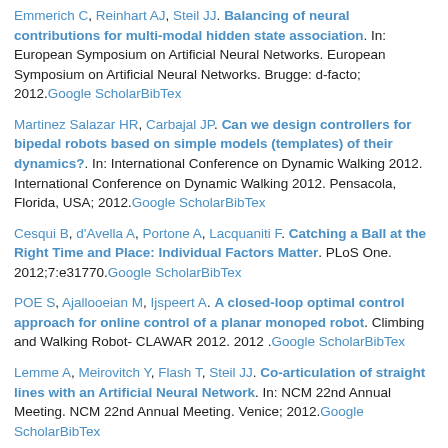Emmerich C, Reinhart AJ, Steil JJ. Balancing of neural contributions for multi-modal hidden state association. In: European Symposium on Artificial Neural Networks. European Symposium on Artificial Neural Networks. Brugge: d-facto; 2012. Google Scholar BibTex
Martinez Salazar HR, Carbajal JP. Can we design controllers for bipedal robots based on simple models (templates) of their dynamics?. In: International Conference on Dynamic Walking 2012. International Conference on Dynamic Walking 2012. Pensacola, Florida, USA; 2012. Google Scholar BibTex
Cesqui B, d'Avella A, Portone A, Lacquaniti F. Catching a Ball at the Right Time and Place: Individual Factors Matter. PLoS One. 2012;7:e31770. Google Scholar BibTex
POE S, Ajallooeian M, Ijspeert A. A closed-loop optimal control approach for online control of a planar monoped robot. Climbing and Walking Robot- CLAWAR 2012. 2012. Google Scholar BibTex
Lemme A, Meirovitch Y, Flash T, Steil JJ. Co-articulation of straight lines with an Artificial Neural Network. In: NCM 22nd Annual Meeting. NCM 22nd Annual Meeting. Venice; 2012. Google Scholar BibTex
Colasanto L, Tsagarakis NG, Caldwell DG. A Compact Model for the Compliant Humanoid Robot COMAN. In: BioRob. BioRob. ; 2012. Google Scholar BibTex